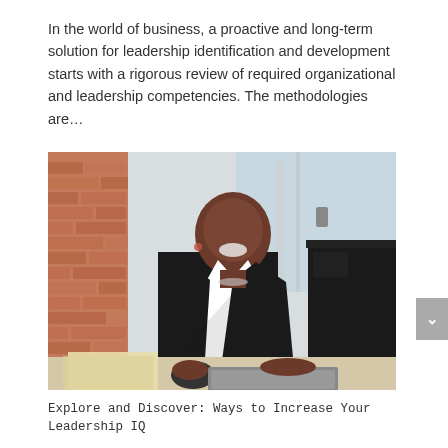In the world of business, a proactive and long-term solution for leadership identification and development starts with a rigorous review of required organizational and leadership competencies. The methodologies are…
[Figure (photo): A smiling businesswoman in a black blazer sitting at a desk in front of a computer monitor, with a brick wall and window in the background]
Explore and Discover: Ways to Increase Your Leadership IQ